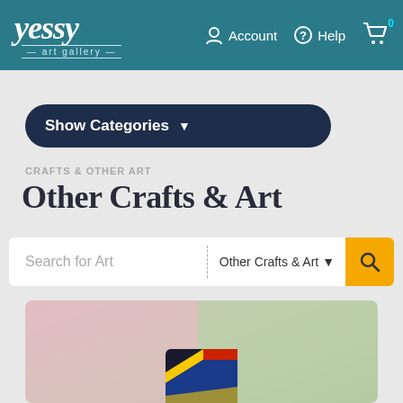yessy art gallery — Account Help Cart (0)
Show Categories
CRAFTS & OTHER ART
Other Crafts & Art
Search for Art | Other Crafts & Art
[Figure (photo): Product artwork photo — colorful craft sculpture on blurred natural background]